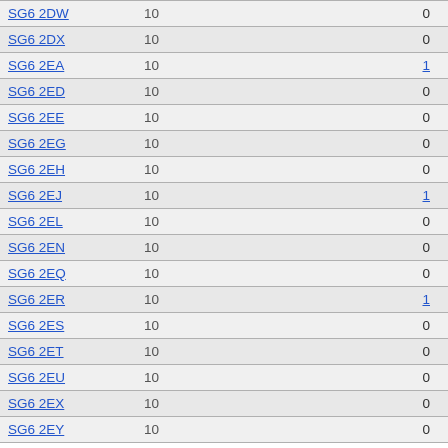| Code | Value1 | Value2 |
| --- | --- | --- |
| SG6 2DW | 10 | 0 |
| SG6 2DX | 10 | 0 |
| SG6 2EA | 10 | 1 |
| SG6 2ED | 10 | 0 |
| SG6 2EE | 10 | 0 |
| SG6 2EG | 10 | 0 |
| SG6 2EH | 10 | 0 |
| SG6 2EJ | 10 | 1 |
| SG6 2EL | 10 | 0 |
| SG6 2EN | 10 | 0 |
| SG6 2EQ | 10 | 0 |
| SG6 2ER | 10 | 1 |
| SG6 2ES | 10 | 0 |
| SG6 2ET | 10 | 0 |
| SG6 2EU | 10 | 0 |
| SG6 2EX | 10 | 0 |
| SG6 2EY | 10 | 0 |